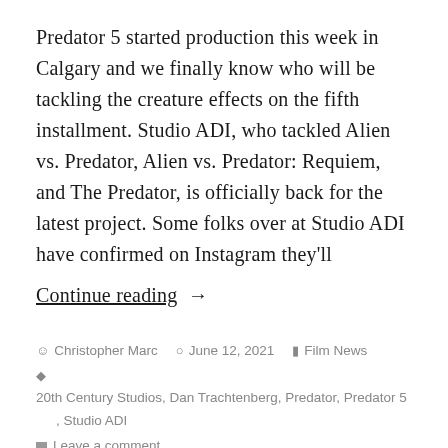Predator 5 started production this week in Calgary and we finally know who will be tackling the creature effects on the fifth installment. Studio ADI, who tackled Alien vs. Predator, Alien vs. Predator: Requiem, and The Predator, is officially back for the latest project. Some folks over at Studio ADI have confirmed on Instagram they'll
Continue reading →
Christopher Marc  June 12, 2021  Film News  20th Century Studios, Dan Trachtenberg, Predator, Predator 5, Studio ADI  Leave a comment